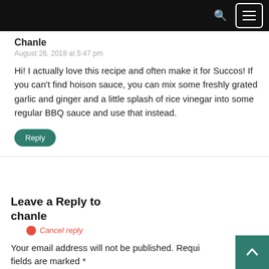Chanle
August 26, 2018 at 5:47 pm
Hi! I actually love this recipe and often make it for Succos! If you can't find hoison sauce, you can mix some freshly grated garlic and ginger and a little splash of rice vinegar into some regular BBQ sauce and use that instead.
Reply
Leave a Reply to chanle
Cancel reply
Your email address will not be published. Required fields are marked *